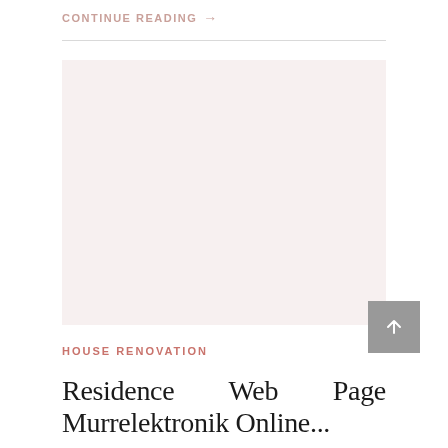CONTINUE READING →
[Figure (photo): Large image placeholder with light pink/rose background]
HOUSE RENOVATION
Residence Web Page Murrelektronik Online...